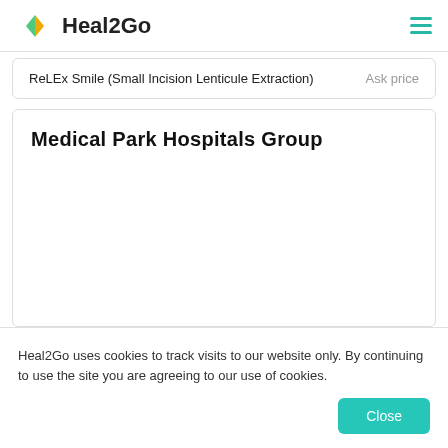Heal2Go
| Procedure | Price |
| --- | --- |
| ReLEx Smile (Small Incision Lenticule Extraction) | Ask price |
Medical Park Hospitals Group
Heal2Go uses cookies to track visits to our website only. By continuing to use the site you are agreeing to our use of cookies.